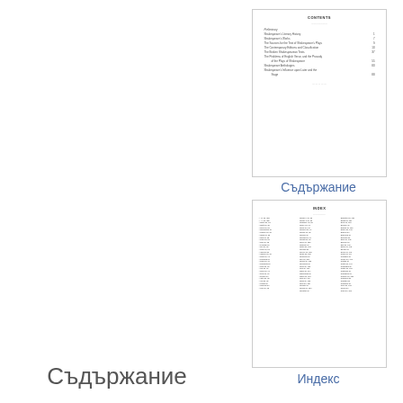[Figure (screenshot): Thumbnail of a table of contents page from a book about Shakespeare]
Съдържание
[Figure (screenshot): Thumbnail of an index page from a book about Shakespeare]
Индекс
Съдържание